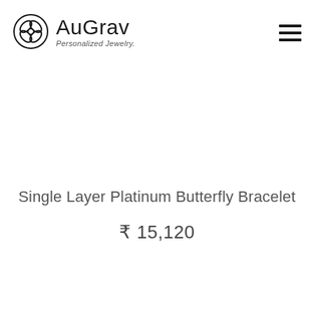AuGrav Personalized Jewelry.
Single Layer Platinum Butterfly Bracelet
₹ 15,120